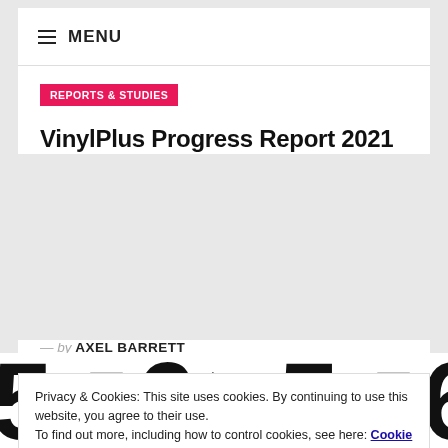≡ MENU
REPORTS & STUDIES
VinylPlus Progress Report 2021
— by AXEL BARRETT
Privacy & Cookies: This site uses cookies. By continuing to use this website, you agree to their use.
To find out more, including how to control cookies, see here: Cookie Policy
Close and accept
[Figure (other): Large decorative numbers and recycling arrows in black and white at bottom of page]